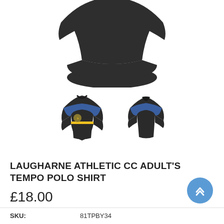[Figure (photo): Main product image showing the back/top of a dark polo shirt with blue and yellow accents, cropped at top]
[Figure (photo): Two thumbnail images of the polo shirt: front view (dark shirt with blue yoke and yellow stripe, club badge) and back view (dark shirt with blue yoke)]
LAUGHARNE ATHLETIC CC ADULT'S TEMPO POLO SHIRT
£18.00
SKU: 81TPBY34